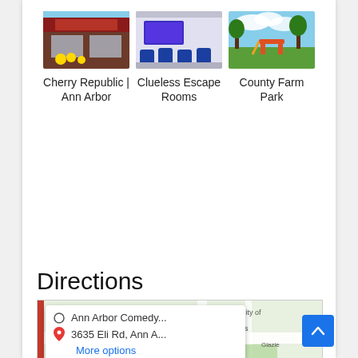[Figure (photo): Storefront photo of Cherry Republic Ann Arbor with yellow flowers]
Cherry Republic | Ann Arbor
[Figure (photo): Interior photo of Clueless Escape Rooms with blue chairs and a TV screen]
Clueless Escape Rooms
[Figure (photo): Outdoor photo of County Farm Park with trees and playground equipment]
County Farm Park
Directions
[Figure (map): Google Maps showing directions from Ann Arbor Comedy... to 3635 Eli Rd, Ann A... near University of Michigan campus with a popup showing More options link]